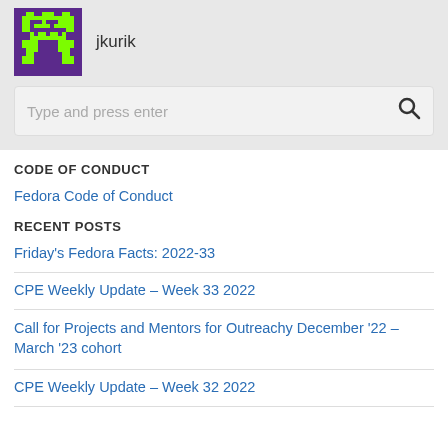[Figure (logo): Pixel art avatar icon with purple and green colors]
jkurik
Type and press enter
CODE OF CONDUCT
Fedora Code of Conduct
RECENT POSTS
Friday's Fedora Facts: 2022-33
CPE Weekly Update – Week 33 2022
Call for Projects and Mentors for Outreachy December '22 – March '23 cohort
CPE Weekly Update – Week 32 2022